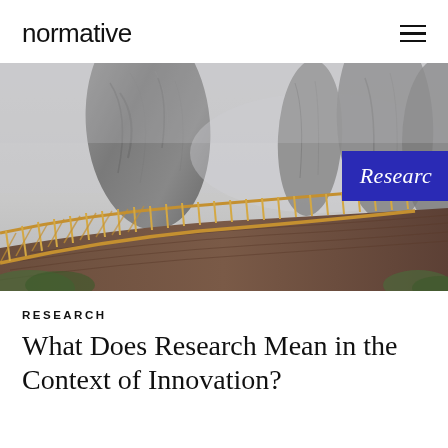normative
[Figure (photo): Photograph of the Golden Bridge in Vietnam — a curved wooden walkway with gold-colored railings held by two giant stone hands emerging from misty fog. Upper right corner has a blue badge overlay with the text 'Researc' (partially visible).]
RESEARCH
What Does Research Mean in the Context of Innovation?